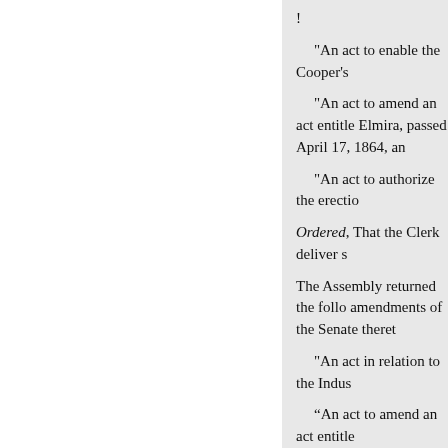!
"An act to enable the Cooper's
"An act to amend an act entitled Elmira, passed April 17, 1864, an
"An act to authorize the erectio
Ordered, That the Clerk deliver s
The Assembly returned the following amendments of the Senate theret
"An act in relation to the Indus
“An act to amend an act entitled Commissioners of Emigration, a
"An act to prevent injury and b employees thereof."
"An act to amend an act to inc 1867."
Ordered, That the Clerk return sa religious societies, to which was Association of the village of Val
By unanimous consent, said bi